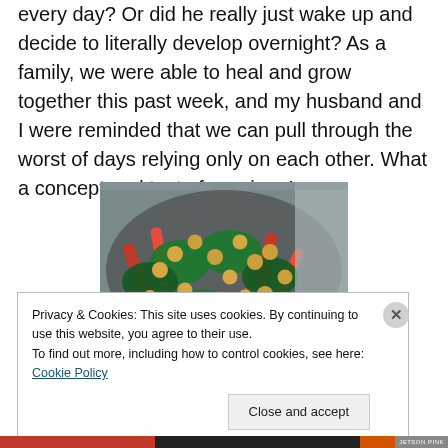every day? Or did he really just wake up and decide to literally develop overnight? As a family, we were able to heal and grow together this past week, and my husband and I were reminded that we can pull through the worst of days relying only on each other. What a concept and test of marriage!
[Figure (photo): A pan filled with chickpeas, kale, and red bell pepper strips being cooked together.]
Privacy & Cookies: This site uses cookies. By continuing to use this website, you agree to their use.
To find out more, including how to control cookies, see here: Cookie Policy
Close and accept